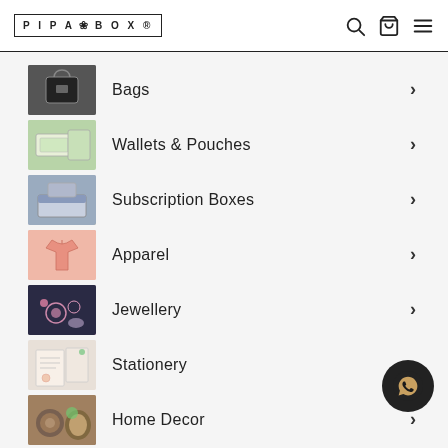PIPA BOX — navigation header with search, cart, and menu icons
Bags
Wallets & Pouches
Subscription Boxes
Apparel
Jewellery
Stationery
Home Decor
Corporate Gifting